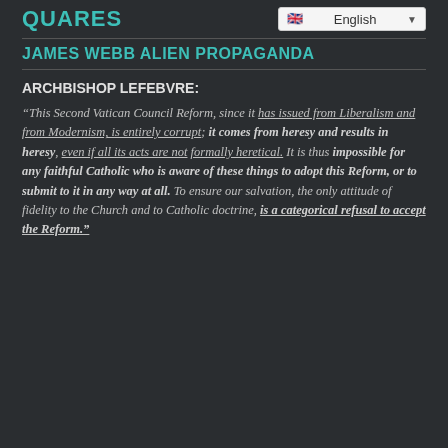QUARES
English
JAMES WEBB ALIEN PROPAGANDA
ARCHBISHOP LEFEBVRE:
“This Second Vatican Council Reform, since it has issued from Liberalism and from Modernism, is entirely corrupt; it comes from heresy and results in heresy, even if all its acts are not formally heretical. It is thus impossible for any faithful Catholic who is aware of these things to adopt this Reform, or to submit to it in any way at all. To ensure our salvation, the only attitude of fidelity to the Church and to Catholic doctrine, is a categorical refusal to accept the Reform.”